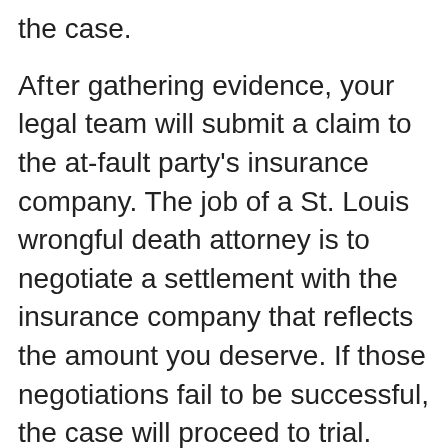the case.
After gathering evidence, your legal team will submit a claim to the at-fault party's insurance company. The job of a St. Louis wrongful death attorney is to negotiate a settlement with the insurance company that reflects the amount you deserve. If those negotiations fail to be successful, the case will proceed to trial. While the process can possibly be lengthy, St. Louis wrongful death lawyers are there to help you receive the compensation you deserve for your loved one's death no matter how long it takes.